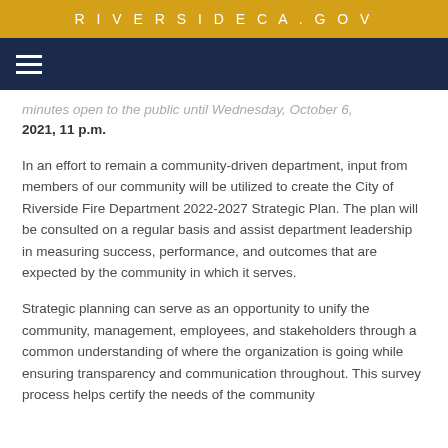RIVERSIDECA.GOV
minutes open to the public until Wednesday, October 6, 2021, 11 p.m.
In an effort to remain a community-driven department, input from members of our community will be utilized to create the City of Riverside Fire Department 2022-2027 Strategic Plan. The plan will be consulted on a regular basis and assist department leadership in measuring success, performance, and outcomes that are expected by the community in which it serves.
Strategic planning can serve as an opportunity to unify the community, management, employees, and stakeholders through a common understanding of where the organization is going while ensuring transparency and communication throughout. This survey process helps certify the needs of the community